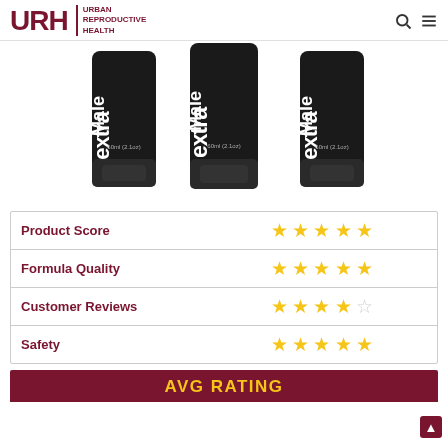URH URBAN REPRODUCTIVE HEALTH
[Figure (photo): Three black tubes of Male Extra supplement product, 60ml (2.1oz) each, displayed side by side on white background.]
| Category | Rating |
| --- | --- |
| Product Score | 5 stars |
| Formula Quality | 5 stars |
| Customer Reviews | 4 stars |
| Safety | 5 stars |
AVG Rating